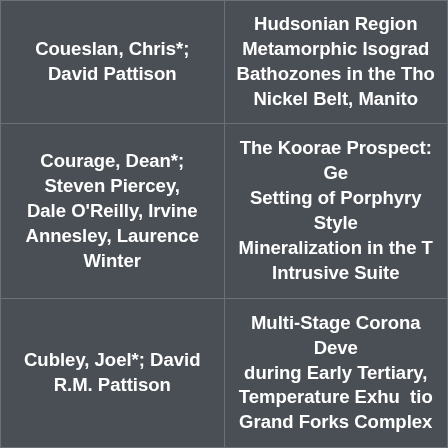| Authors | Title |
| --- | --- |
| Coueslan, Chris*; David Pattison | Hudsonian Region Metamorphic Isogrades / Bathozones in the Thompson Nickel Belt, Manitoba |
| Courage, Dean*; Steven Piercey, Dale O'Reilly, Irvine Annesley, Laurence Winter | The Koorae Prospect: Geological Setting of Porphyry Style Mineralization in the Tombstone Intrusive Suite |
| Cubley, Joel*; David R.M. Pattison | Multi-Stage Corona Development during Early Tertiary, High-Temperature Exhumation of the Grand Forks Complex |